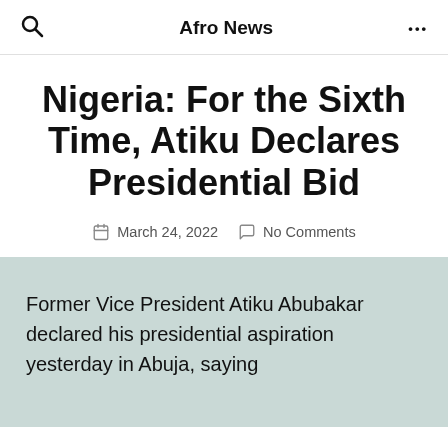Afro News
Nigeria: For the Sixth Time, Atiku Declares Presidential Bid
March 24, 2022   No Comments
Former Vice President Atiku Abubakar declared his presidential aspiration yesterday in Abuja, saying